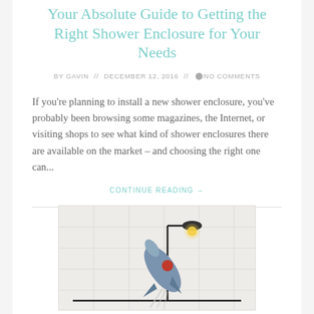Your Absolute Guide to Getting the Right Shower Enclosure for Your Needs
BY GAVIN // DECEMBER 12, 2016 // 💬 NO COMMENTS
If you're planning to install a new shower enclosure, you've probably been browsing some magazines, the Internet, or visiting shops to see what kind of shower enclosures there are available on the market – and choosing the right one can...
CONTINUE READING →
[Figure (illustration): Illustration of a rocket ship launching with a lamp overhead, on a textured background]